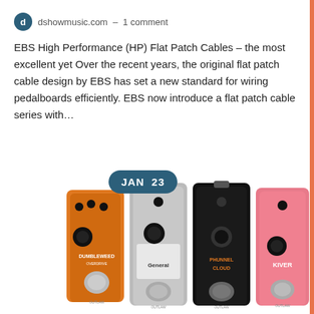dshowmusic.com – 1 comment
EBS High Performance (HP) Flat Patch Cables – the most excellent yet Over the recent years, the original flat patch cable design by EBS has set a new standard for wiring pedalboards efficiently. EBS now introduce a flat patch cable series with…
[Figure (photo): Four guitar effect pedals side by side: orange Dumbleweed Outlaw pedal, silver General Outlaw pedal, black Phunnel Cloud pedal, and pink Kiver Outlaw pedal. A teal badge with 'JAN 23' overlays the top-left area.]